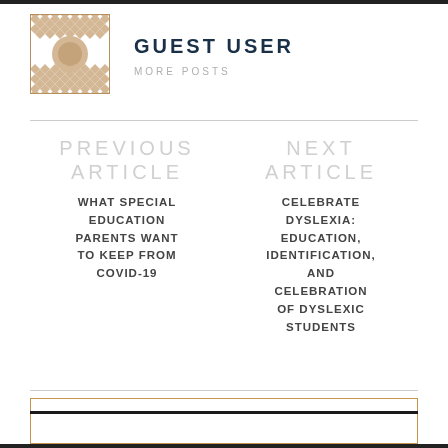[Figure (illustration): Decorative geometric patterned avatar image in beige and white with diamond and floral motifs]
GUEST USER
MORE POSTS
PREVIOUS ARTICLE
WHAT SPECIAL EDUCATION PARENTS WANT TO KEEP FROM COVID-19
NEXT ARTICLE
CELEBRATE DYSLEXIA: EDUCATION, IDENTIFICATION, AND CELEBRATION OF DYSLEXIC STUDENTS